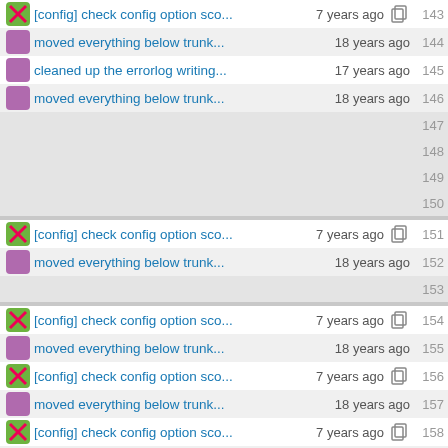[config] check config option sco... 7 years ago 143
moved everything below trunk... 18 years ago 144
cleaned up the errorlog writing... 17 years ago 145
moved everything below trunk... 18 years ago 146
147
148
149
150
[config] check config option sco... 7 years ago 151
moved everything below trunk... 18 years ago 152
153
[config] check config option sco... 7 years ago 154
moved everything below trunk... 18 years ago 155
[config] check config option sco... 7 years ago 156
moved everything below trunk... 18 years ago 157
[config] check config option sco... 7 years ago 158
Hide some ssl errors per defaul...14 years ago 159
160
- white space cleanup part 2 th...16 years ago 161
Hide some ssl errors per defaul...14 years ago 162
dropped file-cache, added stat-...17 years ago 163